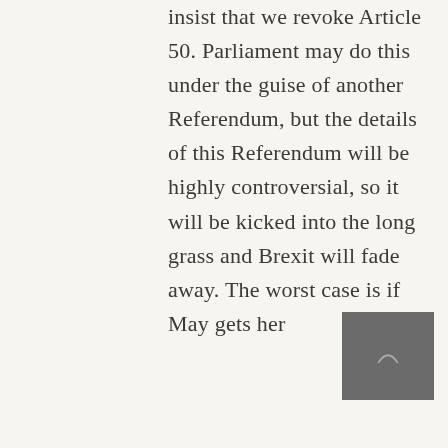insist that we revoke Article 50. Parliament may do this under the guise of another Referendum, but the details of this Referendum will be highly controversial, so it will be kicked into the long grass and Brexit will fade away. The worst case is if May gets her
[Figure (other): Small dark grey thumbnail image with a faint arc/rainbow icon in the center]